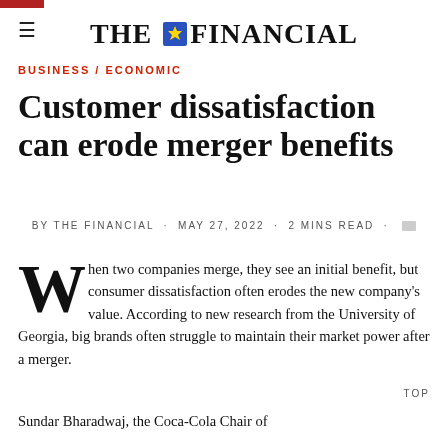THE FINANCIAL
BUSINESS / ECONOMIC
Customer dissatisfaction can erode merger benefits
BY THE FINANCIAL · MAY 27, 2022 · 2 MINS READ ·
When two companies merge, they see an initial benefit, but consumer dissatisfaction often erodes the new company's value. According to new research from the University of Georgia, big brands often struggle to maintain their market power after a merger.
Sundar Bharadwaj, the Coca-Cola Chair of